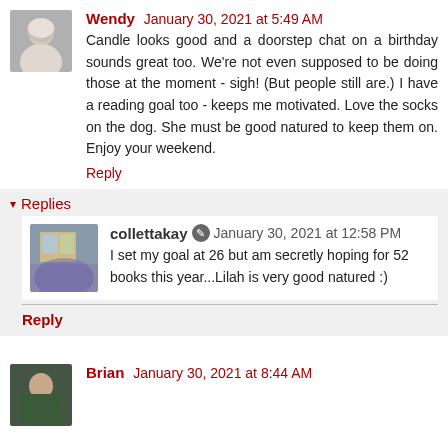[Figure (photo): Avatar photo of Wendy, a woman with light hair]
Wendy January 30, 2021 at 5:49 AM
Candle looks good and a doorstep chat on a birthday sounds great too. We're not even supposed to be doing those at the moment - sigh! (But people still are.) I have a reading goal too - keeps me motivated. Love the socks on the dog. She must be good natured to keep them on. Enjoy your weekend.
Reply
Replies
[Figure (photo): Avatar photo of collettakay showing a window scene]
collettakay January 30, 2021 at 12:58 PM
I set my goal at 26 but am secretly hoping for 52 books this year...Lilah is very good natured :)
Reply
[Figure (photo): Avatar photo of Brian, a man in a green shirt]
Brian January 30, 2021 at 8:44 AM